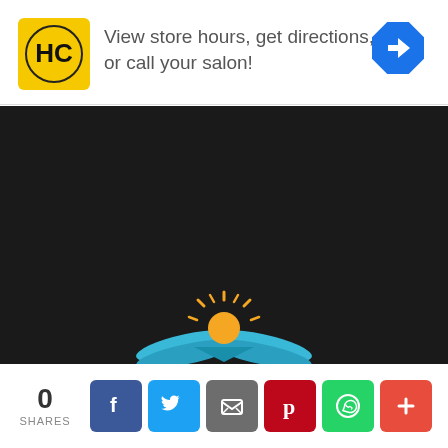[Figure (screenshot): Ad banner with HC salon logo, text 'View store hours, get directions, or call your salon!' and a blue navigation arrow icon]
View store hours, get directions, or call your salon!
[Figure (logo): Daily Inspirational Quotes logo: open book with sun rising above it, blue wave pages, orange sun with rays, white bold text 'DAILY INSPIRATIONAL QUOTES' below]
DAILY INSPIRATIONAL QUOTES
0 SHARES